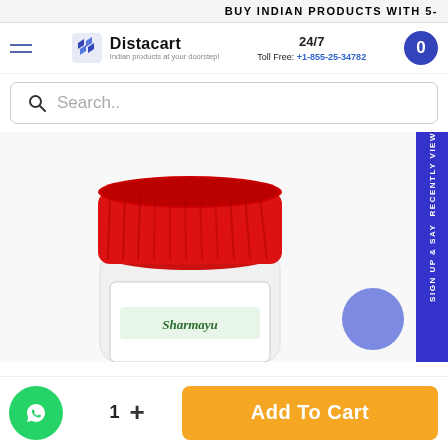BUY INDIAN PRODUCTS WITH 5-
[Figure (logo): Distacart logo with text 'Indian products at your doorstep!']
24/7
Toll Free: +1-855-25-34782
Search..
[Figure (photo): Sharmayu product bottle with red cap, white body, partially visible label]
Sign up & say RECENTLY VIEW
1 + Add To Cart